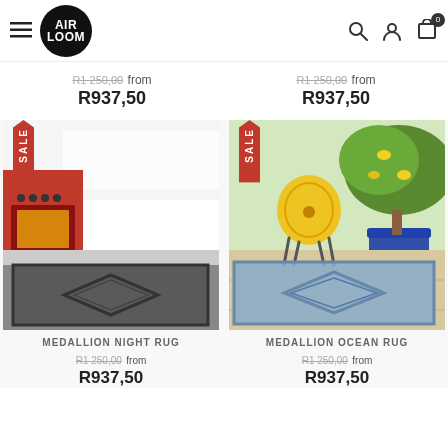Air Loom – Navigation header with logo, hamburger menu, search, account, and cart icons
R1 250,00  from  R937,50  |  R1 250,00  from  R937,50
[Figure (photo): MEDALLION NIGHT RUG product photo showing a dark geometric medallion rug in a kitchen setting with red oven, with a red SALE ribbon badge]
[Figure (photo): MEDALLION OCEAN RUG product photo showing a light blue geometric medallion rug on an outdoor terrace with a yellow chair and lemon tree, with a red SALE ribbon badge]
MEDALLION NIGHT RUG
R1 250,00  from  R937,50
MEDALLION OCEAN RUG
R1 250,00  from  R937,50